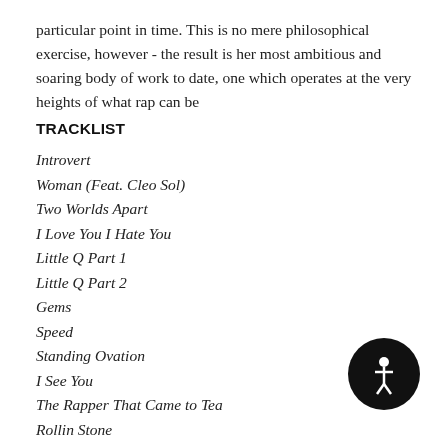particular point in time. This is no mere philosophical exercise, however - the result is her most ambitious and soaring body of work to date, one which operates at the very heights of what rap can be
TRACKLIST
Introvert
Woman (Feat. Cleo Sol)
Two Worlds Apart
I Love You I Hate You
Little Q Part 1
Little Q Part 2
Gems
Speed
Standing Ovation
I See You
The Rapper That Came to Tea
Rollin Stone
[Figure (logo): Black circular logo with a small white figure/person icon in the center]